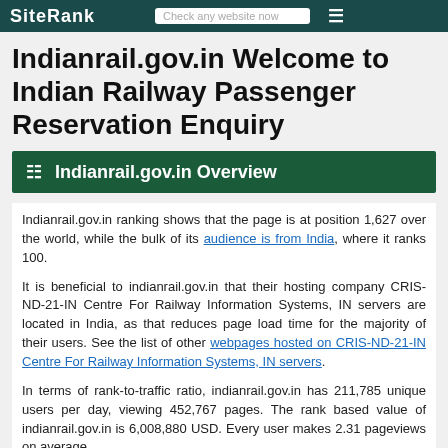SiteRank  Check any website now
Indianrail.gov.in Welcome to Indian Railway Passenger Reservation Enquiry
🗄 Indianrail.gov.in Overview
Indianrail.gov.in ranking shows that the page is at position 1,627 over the world, while the bulk of its audience is from India, where it ranks 100.
It is beneficial to indianrail.gov.in that their hosting company CRIS-ND-21-IN Centre For Railway Information Systems, IN servers are located in India, as that reduces page load time for the majority of their users. See the list of other webpages hosted on CRIS-ND-21-IN Centre For Railway Information Systems, IN servers.
In terms of rank-to-traffic ratio, indianrail.gov.in has 211,785 unique users per day, viewing 452,767 pages. The rank based value of indianrail.gov.in is 6,008,880 USD. Every user makes 2.31 pageviews on average.